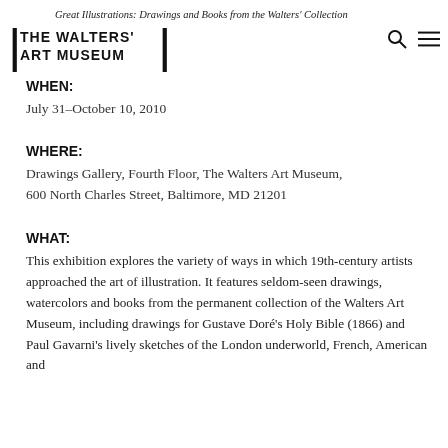Great Illustrations: Drawings and Books from the Walters' Collection
[Figure (logo): The Walters Art Museum logo with bracketed text]
WHEN:
July 31–October 10, 2010
WHERE:
Drawings Gallery, Fourth Floor, The Walters Art Museum, 600 North Charles Street, Baltimore, MD 21201
WHAT:
This exhibition explores the variety of ways in which 19th-century artists approached the art of illustration. It features seldom-seen drawings, watercolors and books from the permanent collection of the Walters Art Museum, including drawings for Gustave Doré's Holy Bible (1866) and Paul Gavarni's lively sketches of the London underworld, French, American and